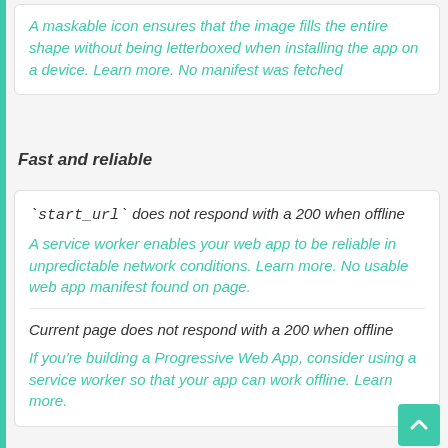A maskable icon ensures that the image fills the entire shape without being letterboxed when installing the app on a device. Learn more. No manifest was fetched
Fast and reliable
`start_url` does not respond with a 200 when offline
A service worker enables your web app to be reliable in unpredictable network conditions. Learn more. No usable web app manifest found on page.
Current page does not respond with a 200 when offline
If you're building a Progressive Web App, consider using a service worker so that your app can work offline. Learn more.